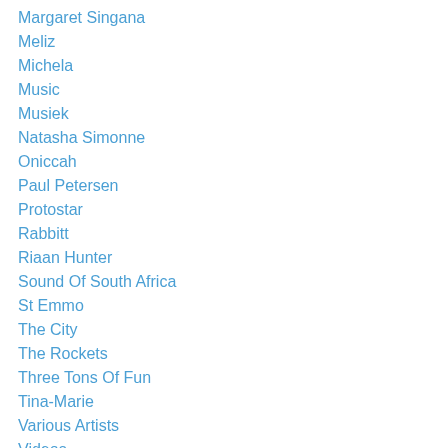Margaret Singana
Meliz
Michela
Music
Musiek
Natasha Simonne
Oniccah
Paul Petersen
Protostar
Rabbitt
Riaan Hunter
Sound Of South Africa
St Emmo
The City
The Rockets
Three Tons Of Fun
Tina-Marie
Various Artists
Videos
Wynand Barnard